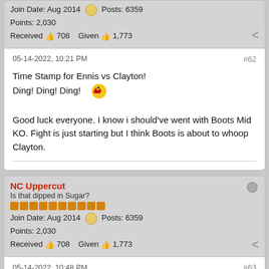Join Date: Aug 2014  Posts: 6359
Points: 2,030
Received 708  Given 1,773
05-14-2022, 10:21 PM  #62
Time Stamp for Ennis vs Clayton!
Ding! Ding! Ding!
Good luck everyone. I know i should've went with Boots Mid KO. Fight is just starting but I think Boots is about to whoop Clayton.
NC Uppercut
Is that dipped in Sugar?
Join Date: Aug 2014  Posts: 6359
Points: 2,030
Received 708  Given 1,773
05-14-2022, 10:48 PM  #63